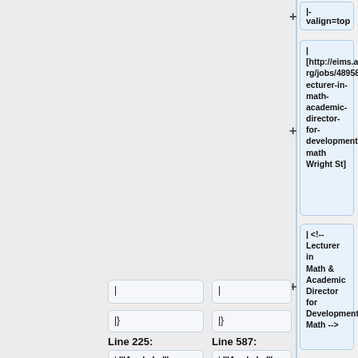|- valign=top
| [http://eims.ams.org/jobs/4895818/lecturer-in-math-academic-director-for-developmental-math Wright St]
| <!-- Lecturer in Math & Academic Director for Developmental Math -->
|
|
|}
|}
Line 225:
Line 587:
| '''Apply by'''
| '''Apply by'''